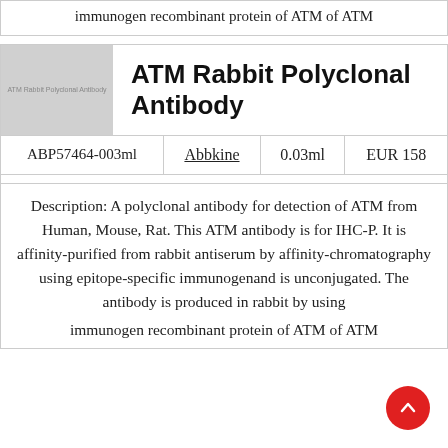immunogen recombinant protein of ATM of ATM
ATM Rabbit Polyclonal Antibody
[Figure (other): Product image placeholder for ATM Rabbit Polyclonal Antibody]
| Catalog | Supplier | Volume | Price |
| --- | --- | --- | --- |
| ABP57464-003ml | Abbkine | 0.03ml | EUR 158 |
Description: A polyclonal antibody for detection of ATM from Human, Mouse, Rat. This ATM antibody is for IHC-P. It is affinity-purified from rabbit antiserum by affinity-chromatography using epitope-specific immunogenand is unconjugated. The antibody is produced in rabbit by using immunogen recombinant protein of ATM of ATM